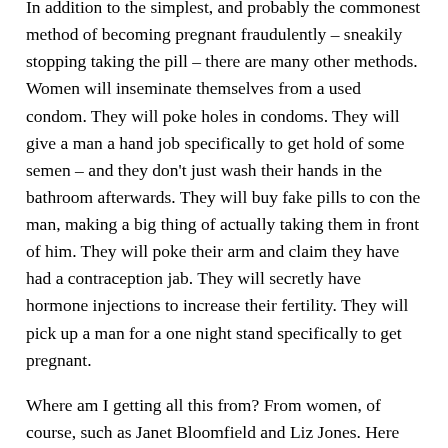In addition to the simplest, and probably the commonest method of becoming pregnant fraudulently – sneakily stopping taking the pill – there are many other methods. Women will inseminate themselves from a used condom. They will poke holes in condoms. They will give a man a hand job specifically to get hold of some semen – and they don't just wash their hands in the bathroom afterwards. They will buy fake pills to con the man, making a big thing of actually taking them in front of him. They will poke their arm and claim they have had a contraception jab. They will secretly have hormone injections to increase their fertility. They will pick up a man for a one night stand specifically to get pregnant.
Where am I getting all this from? From women, of course, such as Janet Bloomfield and Liz Jones. Here are some extracts from Liz Jones's own confession (The Mail on Sunday, 3 November 2011),